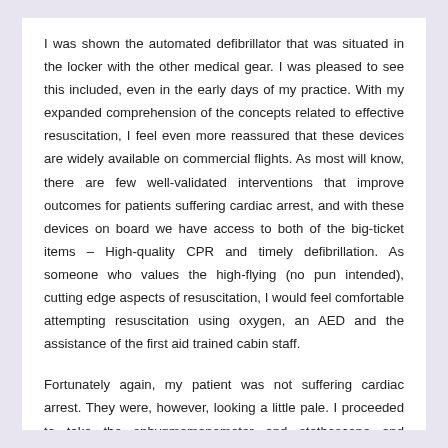I was shown the automated defibrillator that was situated in the locker with the other medical gear. I was pleased to see this included, even in the early days of my practice. With my expanded comprehension of the concepts related to effective resuscitation, I feel even more reassured that these devices are widely available on commercial flights. As most will know, there are few well-validated interventions that improve outcomes for patients suffering cardiac arrest, and with these devices on board we have access to both of the big-ticket items – High-quality CPR and timely defibrillation. As someone who values the high-flying (no pun intended), cutting edge aspects of resuscitation, I would feel comfortable attempting resuscitation using oxygen, an AED and the assistance of the first aid trained cabin staff.
Fortunately again, my patient was not suffering cardiac arrest. They were, however, looking a little pale. I proceeded to take the sphygmomanometer and stethoscope and performed a simple assessment gathering the patient's history and vitals. My patient